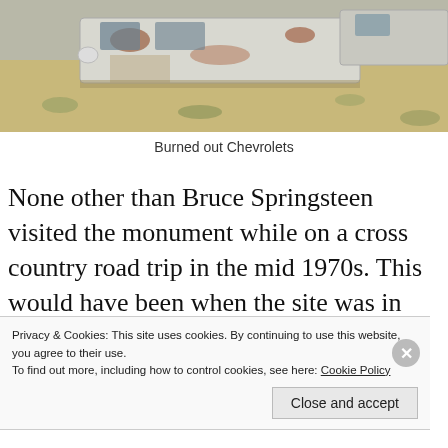[Figure (photo): A junkyard scene showing rusted, burned out white Chevrolet cars in a dusty desert landscape with sparse vegetation.]
Burned out Chevrolets
None other than Bruce Springsteen visited the monument while on a cross country road trip in the mid 1970s. This would have been when the site was in full on commune mode. During concerts in the 70s and 80s
Privacy & Cookies: This site uses cookies. By continuing to use this website, you agree to their use.
To find out more, including how to control cookies, see here: Cookie Policy
Close and accept